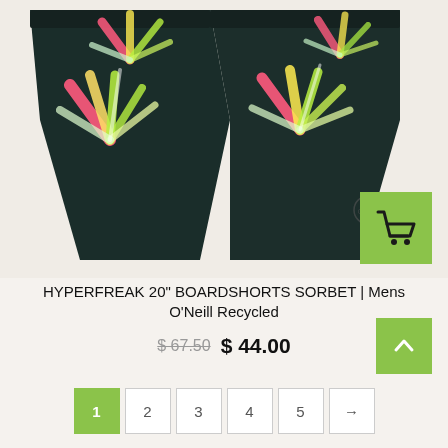[Figure (photo): Black floral print boardshorts (Hyperfreak 20" Boardshorts Sorbet) displayed flat on a light beige background. The shorts feature colorful tropical plant/bird-of-paradise floral pattern in pink, yellow, green, and white on dark background. A green shopping cart button overlays the bottom-right of the image.]
HYPERFREAK 20" BOARDSHORTS SORBET | Mens O'Neill Recycled
$ 67.50  $ 44.00